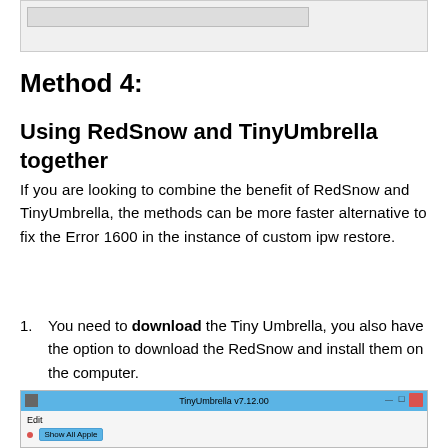[Figure (screenshot): Partial screenshot of a Windows application or dialog box with gray background at top of page]
Method 4:
Using RedSnow and TinyUmbrella together
If you are looking to combine the benefit of RedSnow and TinyUmbrella, the methods can be more faster alternative to fix the Error 1600 in the instance of custom ipw restore.
You need to download the Tiny Umbrella, you also have the option to download the RedSnow and install them on the computer.
[Figure (screenshot): Screenshot of TinyUmbrella v7.12.00 application window with blue title bar showing Edit menu and Show All Apple button]